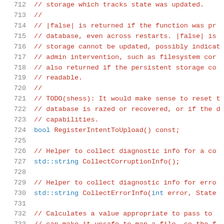[Figure (screenshot): Source code viewer showing C++ code lines 712-733 with line numbers in gray on the left and code in red/blue monospace font on a white background.]